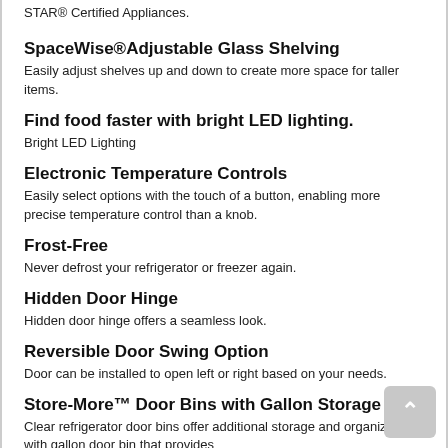STAR® Certified Appliances.
SpaceWise®Adjustable Glass Shelving
Easily adjust shelves up and down to create more space for taller items.
Find food faster with bright LED lighting.
Bright LED Lighting
Electronic Temperature Controls
Easily select options with the touch of a button, enabling more precise temperature control than a knob.
Frost-Free
Never defrost your refrigerator or freezer again.
Hidden Door Hinge
Hidden door hinge offers a seamless look.
Reversible Door Swing Option
Door can be installed to open left or right based on your needs.
Store-More™ Door Bins with Gallon Storage
Clear refrigerator door bins offer additional storage and organization, with gallon door bin that provides